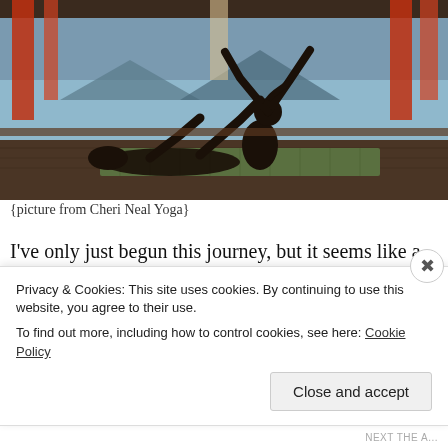[Figure (photo): Silhouette of two people performing Thai yoga massage on a mat, with a scenic water and mountain background visible through large windows with red curtains draped. Indoor wooden floor setting.]
{picture from Cheri Neal Yoga}
I've only just begun this journey, but it seems like a lifetime already. I took the level I Thai Yoga Massage course last
Privacy & Cookies: This site uses cookies. By continuing to use this website, you agree to their use.
To find out more, including how to control cookies, see here: Cookie Policy
Close and accept